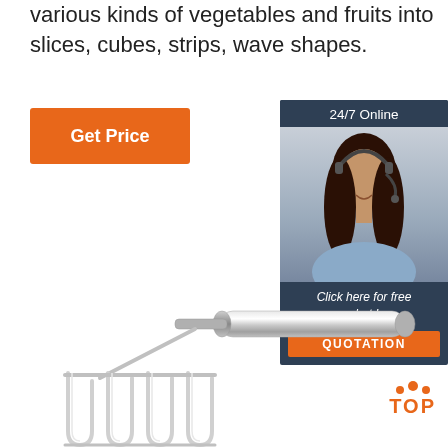various kinds of vegetables and fruits into slices, cubes, strips, wave shapes.
[Figure (other): Orange 'Get Price' button]
[Figure (other): 24/7 Online chat widget with photo of customer service agent, 'Click here for free chat!' text and orange QUOTATION button]
[Figure (other): Stainless steel potato masher / vegetable cutter tool with wire loops and cylindrical handle]
[Figure (logo): Orange 'TOP' logo with dotted triangle above]